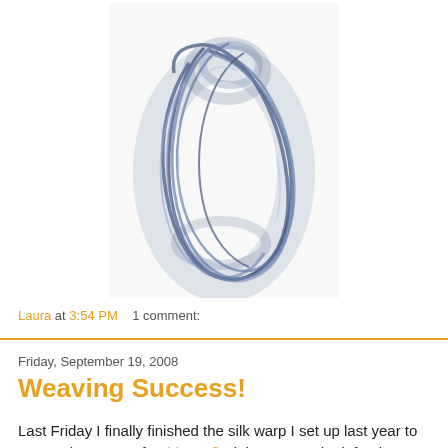[Figure (photo): A coiled skein of blue-grey variegated silk yarn on a white background]
Laura at 3:54 PM    1 comment:
Friday, September 19, 2008
Weaving Success!
Last Friday I finally finished the silk warp I set up last year to weave the garters for this outfit. (The one on the left. The